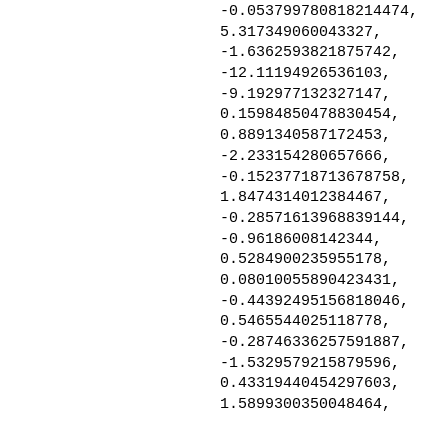-0.053799780818214474,
5.317349060043327,
-1.6362593821875742,
-12.11194926536103,
-9.192977132327147,
0.15984850478830454,
0.8891340587172453,
-2.233154280657666,
-0.15237718713678758,
1.8474314012384467,
-0.28571613968839144,
-0.96186008142344,
0.5284900235955178,
0.08010055890423431,
-0.44392495156818046,
0.5465544025118778,
-0.28746336257591887,
-1.5329579215879596,
0.4331944045429760 3,
1.5899300350048464,